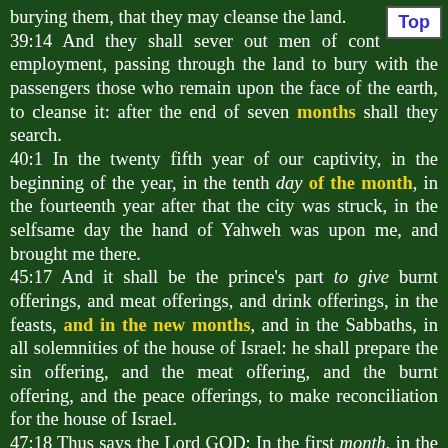burying them, that they may cleanse the land. 39:14 And they shall sever out men of continual employment, passing through the land to bury with the passengers those who remain upon the face of the earth, to cleanse it: after the end of seven months shall they search. 40:1 In the twenty fifth year of our captivity, in the beginning of the year, in the tenth day of the month, in the fourteenth year after that the city was struck, in the selfsame day the hand of Yahweh was upon me, and brought me there. 45:17 And it shall be the prince's part to give burnt offerings, and meat offerings, and drink offerings, in the feasts, and in the new months, and in the Sabbaths, in all solemnities of the house of Israel: he shall prepare the sin offering, and the meat offering, and the burnt offering, and the peace offerings, to make reconciliation for the house of Israel. 47:18 Thus says the Lord GOD; In the first month, in the first day of the month, you shall take a young bull without blemish...